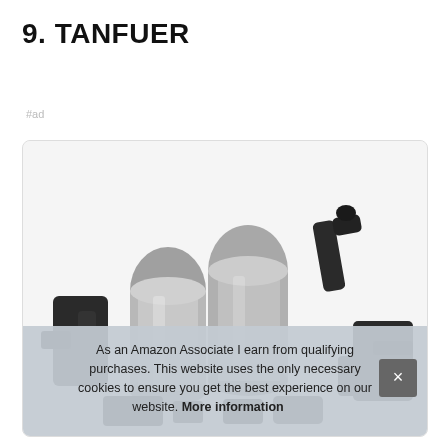9. TANFUER
#ad
[Figure (photo): Product photo of TANFUER items — appears to show black and silver metal clamp or locking tools/devices on a white background]
As an Amazon Associate I earn from qualifying purchases. This website uses the only necessary cookies to ensure you get the best experience on our website. More information